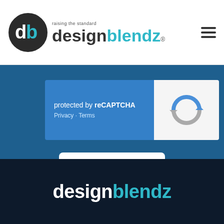[Figure (logo): designblendz logo with circular db icon and tagline 'raising the standard']
[Figure (screenshot): reCAPTCHA widget with blue background showing 'protected by reCAPTCHA' and Privacy/Terms links, with reCAPTCHA logo on right]
[Figure (screenshot): White SUBSCRIBE button]
Learn more about architecture, visualization, and construction in our monthly newsletter.
[Figure (logo): designblendz footer logo in white and teal on dark navy background]